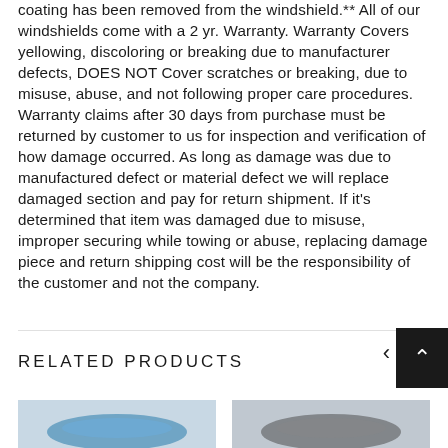coating has been removed from the windshield.** All of our windshields come with a 2 yr. Warranty. Warranty Covers yellowing, discoloring or breaking due to manufacturer defects, DOES NOT Cover scratches or breaking, due to misuse, abuse, and not following proper care procedures. Warranty claims after 30 days from purchase must be returned by customer to us for inspection and verification of how damage occurred. As long as damage was due to manufactured defect or material defect we will replace damaged section and pay for return shipment. If it's determined that item was damaged due to misuse, improper securing while towing or abuse, replacing damage piece and return shipping cost will be the responsibility of the customer and not the company.
RELATED PRODUCTS
[Figure (photo): Thumbnail image of a vehicle (left product card), partially visible at bottom of page]
[Figure (photo): Thumbnail image of a vehicle (right product card), partially visible at bottom of page]